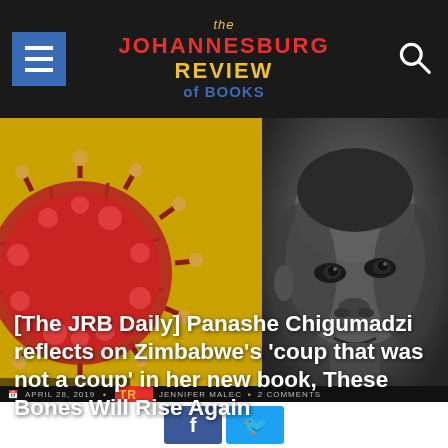the JOHANNESBURG REVIEW of BOOKS
[Figure (photo): Left panel: Book cover on yellow/gold background with red virus-like organism illustration. Right panel: Black and white close-up portrait of a young African child's face.]
[The JRB Daily] Panashe Chigumadzi reflects on Zimbabwe's 'coup that was not a coup' in her new book, These Bones Will Rise Again
APRIL 28, 2019  JENNIFER MALEC  2 COMMENTS